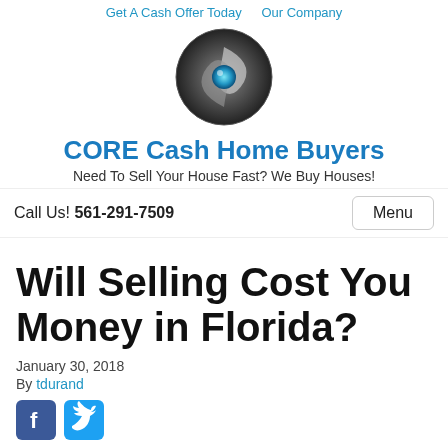Get A Cash Offer Today   Our Company
[Figure (logo): CORE Cash Home Buyers circular logo with swirl and blue orb]
CORE Cash Home Buyers
Need To Sell Your House Fast? We Buy Houses!
Call Us! 561-291-7509
Will Selling Cost You Money in Florida?
January 30, 2018
By tdurand
[Figure (other): Facebook and Twitter social share icons]